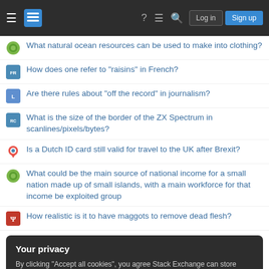Stack Exchange navigation bar with Log in and Sign up buttons
What natural ocean resources can be used to make into clothing?
How does one refer to "raisins" in French?
Are there rules about "off the record" in journalism?
What is the size of the border of the ZX Spectrum in scanlines/pixels/bytes?
Is a Dutch ID card still valid for travel to the UK after Brexit?
What could be the main source of national income for a small nation made up of small islands, with a main workforce for that income be exploited group
How realistic is it to have maggots to remove dead flesh?
Your privacy
By clicking "Accept all cookies", you agree Stack Exchange can store cookies on your device and disclose information in accordance with our Cookie Policy.
Need macro to \write content into a file as a string from LaTeX